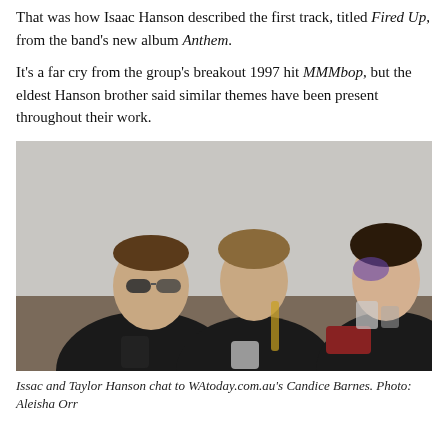That was how Isaac Hanson described the first track, titled Fired Up, from the band's new album Anthem.
It's a far cry from the group's breakout 1997 hit MMMbop, but the eldest Hanson brother said similar themes have been present throughout their work.
[Figure (photo): Issac and Taylor Hanson sitting and chatting with WAtoday.com.au's Candice Barnes. Three people seated informally, two men and a woman, holding cups and items.]
Issac and Taylor Hanson chat to WAtoday.com.au's Candice Barnes. Photo: Aleisha Orr